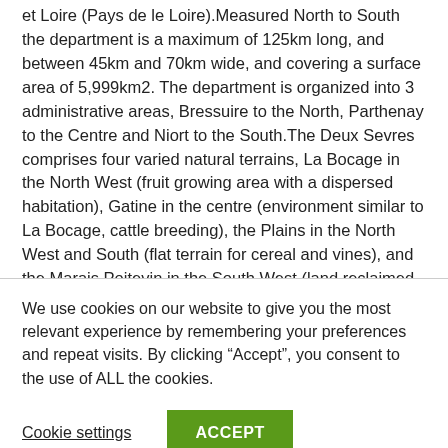et Loire (Pays de le Loire).Measured North to South the department is a maximum of 125km long, and between 45km and 70km wide, and covering a surface area of 5,999km2. The department is organized into 3 administrative areas, Bressuire to the North, Parthenay to the Centre and Niort to the South.The Deux Sevres comprises four varied natural terrains, La Bocage in the North West (fruit growing area with a dispersed habitation), Gatine in the centre (environment similar to La Bocage, cattle breeding), the Plains in the North West and South (flat terrain for cereal and vines), and the Marais Poitevin in the South West (land reclaimed from the sea by monks, and latterly Dutch engineers).
The Gatine is a small, "different" area. It is an area where no
We use cookies on our website to give you the most relevant experience by remembering your preferences and repeat visits. By clicking “Accept”, you consent to the use of ALL the cookies.
Cookie settings
ACCEPT